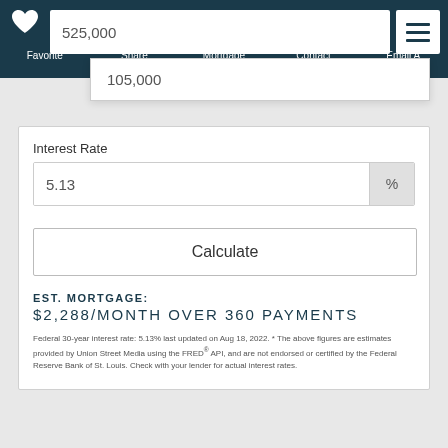525,000
Favorite  Share  Mortgage Calculator  Contact  Email A Friend
105,000
Interest Rate
5.13  %
Calculate
EST. MORTGAGE:
$2,288/MONTH OVER 360 PAYMENTS
Federal 30-year interest rate: 5.13% last updated on Aug 18, 2022. * The above figures are estimates provided by Union Street Media using the FRED® API, and are not endorsed or certified by the Federal Reserve Bank of St. Louis. Check with your lender for actual interest rates.